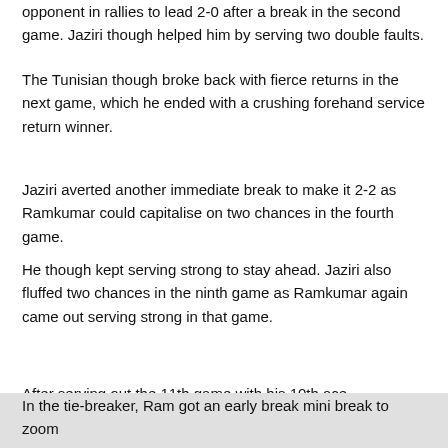opponent in rallies to lead 2-0 after a break in the second game. Jaziri though helped him by serving two double faults.
The Tunisian though broke back with fierce returns in the next game, which he ended with a crushing forehand service return winner.
Jaziri averted another immediate break to make it 2-2 as Ramkumar could capitalise on two chances in the fourth game.
He though kept serving strong to stay ahead. Jaziri also fluffed two chances in the ninth game as Ramkumar again came out serving strong in that game.
[Figure (screenshot): Read in App button (red pill-shaped), WhatsApp share button (green), and share icon button (dark)]
After serving out the 11th game with his 10th ace, Ramkumar earned a set point in the next game in which four deuce points were played, but Jaziri held.
In the tie-breaker, Ram got an early break mini break to zoom